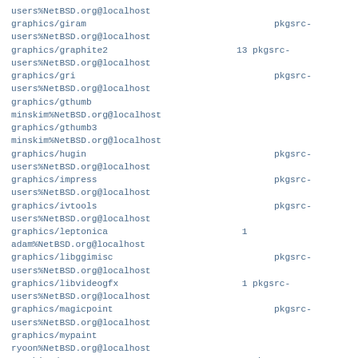users%NetBSD.org@localhost
graphics/giram                                       pkgsrc-
users%NetBSD.org@localhost
graphics/graphite2                          13 pkgsrc-
users%NetBSD.org@localhost
graphics/gri                                        pkgsrc-
users%NetBSD.org@localhost
graphics/gthumb
minskim%NetBSD.org@localhost
graphics/gthumb3
minskim%NetBSD.org@localhost
graphics/hugin                                      pkgsrc-
users%NetBSD.org@localhost
graphics/impress                                    pkgsrc-
users%NetBSD.org@localhost
graphics/ivtools                                    pkgsrc-
users%NetBSD.org@localhost
graphics/leptonica                           1
adam%NetBSD.org@localhost
graphics/libggimisc                                 pkgsrc-
users%NetBSD.org@localhost
graphics/libvideogfx                         1 pkgsrc-
users%NetBSD.org@localhost
graphics/magicpoint                                 pkgsrc-
users%NetBSD.org@localhost
graphics/mypaint
ryoon%NetBSD.org@localhost
graphics/osg                                 2 pkgsrc-
users%NetBSD.org@localhost
graphics/panomatic                                  pkgsrc-